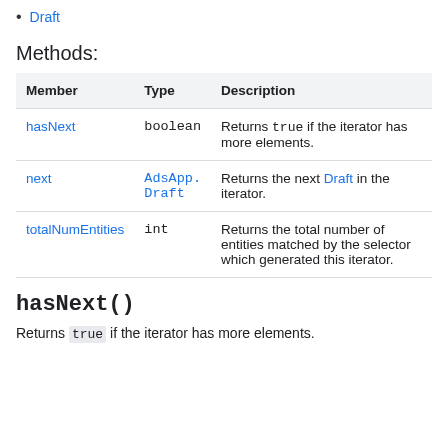Draft
Methods:
| Member | Type | Description |
| --- | --- | --- |
| hasNext | boolean | Returns true if the iterator has more elements. |
| next | AdsApp.Draft | Returns the next Draft in the iterator. |
| totalNumEntities | int | Returns the total number of entities matched by the selector which generated this iterator. |
hasNext()
Returns true if the iterator has more elements.